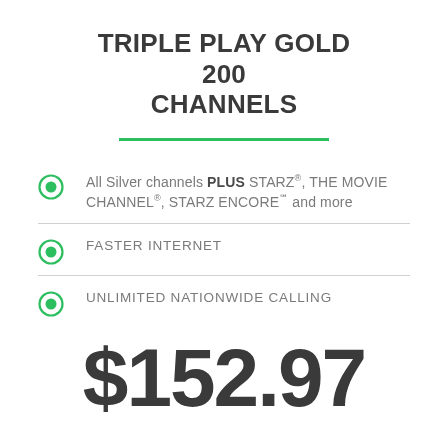TRIPLE PLAY GOLD 200 CHANNELS
All Silver channels PLUS STARZ®, THE MOVIE CHANNEL®, STARZ ENCORE℠ and more
FASTER INTERNET
UNLIMITED NATIONWIDE CALLING
$152.97